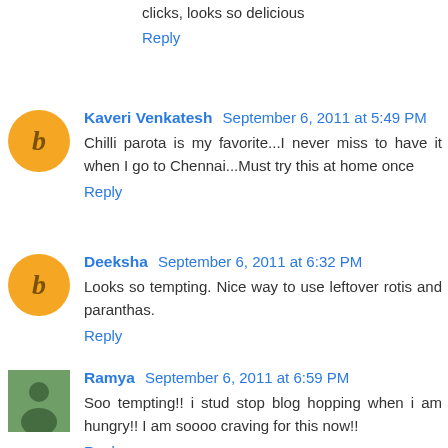clicks, looks so delicious
Reply
Kaveri Venkatesh  September 6, 2011 at 5:49 PM
Chilli parota is my favorite...I never miss to have it when I go to Chennai...Must try this at home once
Reply
Deeksha  September 6, 2011 at 6:32 PM
Looks so tempting. Nice way to use leftover rotis and paranthas.
Reply
Ramya  September 6, 2011 at 6:59 PM
Soo tempting!! i stud stop blog hopping when i am hungry!! I am soooo craving for this now!!
Reply